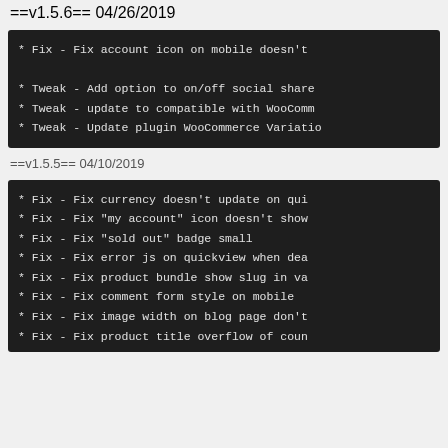==v1.5.6== 04/26/2019
* Fix    - Fix account icon on mobile doesn't
* Tweak  - Add option to on/off social share
* Tweak  - update to compatible with WooComm
* Tweak  - Update plugin WooCommerce Variatio
==v1.5.5== 04/10/2019
* Fix    - Fix currency doesn't update on qui
* Fix    - Fix "my account" icon doesn't show
* Fix    - Fix "sold out" badge small
* Fix    - Fix error js on quickview when dea
* Fix    - Fix product bundle show slug in va
* Fix    - Fix comment form style on mobile
* Fix    - Fix image width on blog page don't
* Fix    - Fix product title overflow of coun